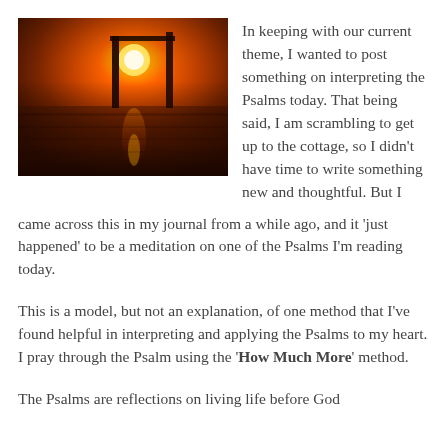[Figure (photo): Sunset over water with a pier/dock silhouette, orange and dark tones, reflection on the water surface]
In keeping with our current theme, I wanted to post something on interpreting the Psalms today. That being said, I am scrambling to get up to the cottage, so I didn’t have time to write something new and thoughtful. But I came across this in my journal from a while ago, and it ‘just happened’ to be a meditation on one of the Psalms I’m reading today.
This is a model, but not an explanation, of one method that I’ve found helpful in interpreting and applying the Psalms to my heart. I pray through the Psalm using the ‘How Much More’ method.
The Psalms are reflections on living life before God